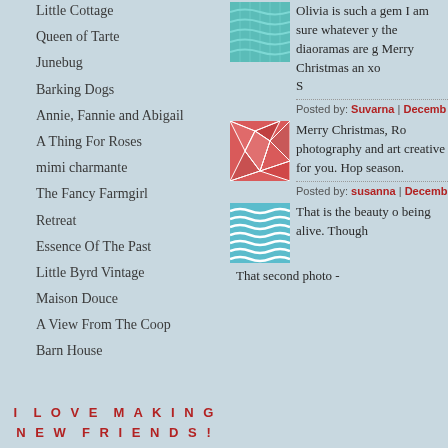Little Cottage
Queen of Tarte
Junebug
Barking Dogs
Annie, Fannie and Abigail
A Thing For Roses
mimi charmante
The Fancy Farmgirl
Retreat
Essence Of The Past
Little Byrd Vintage
Maison Douce
A View From The Coop
Barn House
I LOVE MAKING
NEW FRIENDS!
[Figure (illustration): Teal geometric/wave pattern avatar square]
Olivia is such a gem I am sure whatever y the diaoramas are g Merry Christmas an xo S
Posted by: Suvarna | Decemb
[Figure (illustration): Red/pink geometric shattered glass pattern avatar square]
Merry Christmas, Ro photography and art creative for you. Hop season.
Posted by: susanna | Decemb
[Figure (illustration): Teal wavy lines pattern avatar square]
That is the beauty o being alive. Though
That second photo -